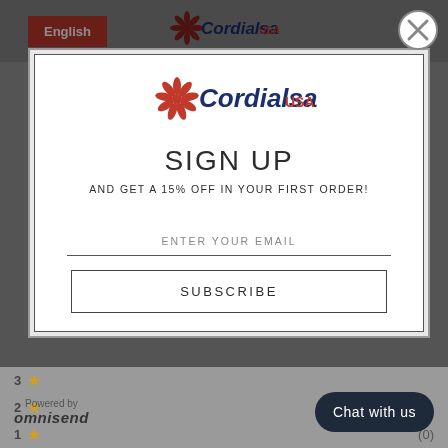[Figure (screenshot): Cordialsa USA website header with English button and logo, overlaid by a sign-up modal popup with email subscription form, and background rating rows at the bottom. Powered by omnisend and Chat with us button visible.]
SIGN UP
AND GET A 15% OFF IN YOUR FIRST ORDER!
ENTER YOUR EMAIL
SUBSCRIBE
Powered by
omnisend
Chat with us